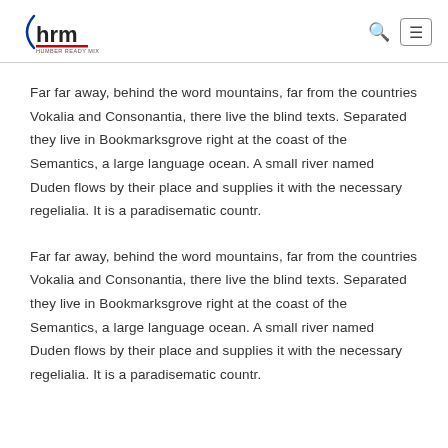hrm HUMBER READY MIX
Far far away, behind the word mountains, far from the countries Vokalia and Consonantia, there live the blind texts. Separated they live in Bookmarksgrove right at the coast of the Semantics, a large language ocean. A small river named Duden flows by their place and supplies it with the necessary regelialia. It is a paradisematic countr.
Far far away, behind the word mountains, far from the countries Vokalia and Consonantia, there live the blind texts. Separated they live in Bookmarksgrove right at the coast of the Semantics, a large language ocean. A small river named Duden flows by their place and supplies it with the necessary regelialia. It is a paradisematic countr.